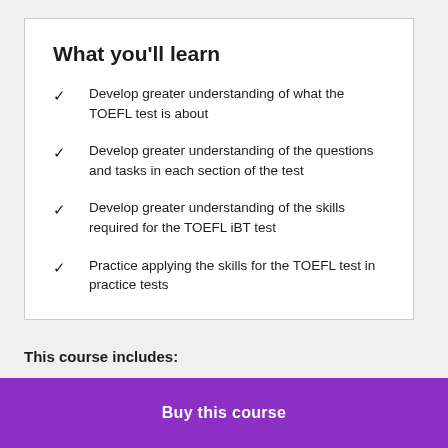What you'll learn
Develop greater understanding of what the TOEFL test is about
Develop greater understanding of the questions and tasks in each section of the test
Develop greater understanding of the skills required for the TOEFL iBT test
Practice applying the skills for the TOEFL test in practice tests
This course includes:
Buy this course